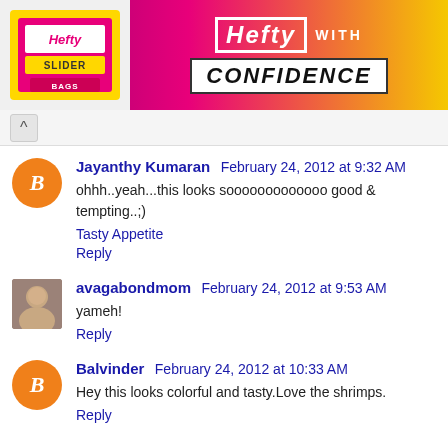[Figure (photo): Hefty brand advertisement banner with slider bags and 'Hefty WITH CONFIDENCE' text on pink and yellow background]
Jayanthy Kumaran  February 24, 2012 at 9:32 AM
ohhh..yeah...this looks sooooooooooooo good & tempting..;)
Tasty Appetite
Reply
avagabondmom  February 24, 2012 at 9:53 AM
yameh!
Reply
Balvinder  February 24, 2012 at 10:33 AM
Hey this looks colorful and tasty.Love the shrimps.
Reply